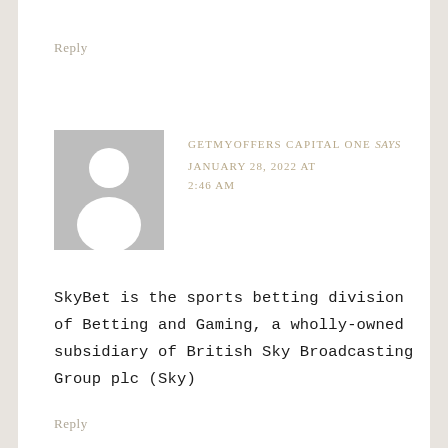Reply
[Figure (illustration): Generic user avatar placeholder: grey square with white silhouette of a person (head circle and shoulders)]
GETMYOFFERS CAPITAL ONE says JANUARY 28, 2022 AT 2:46 AM
SkyBet is the sports betting division of Betting and Gaming, a wholly-owned subsidiary of British Sky Broadcasting Group plc (Sky)
Reply